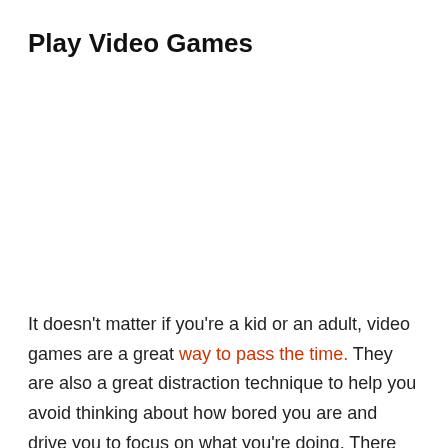Play Video Games
It doesn't matter if you're a kid or an adult, video games are a great way to pass the time. They are also a great distraction technique to help you avoid thinking about how bored you are and drive you to focus on what you're doing. There are tons of